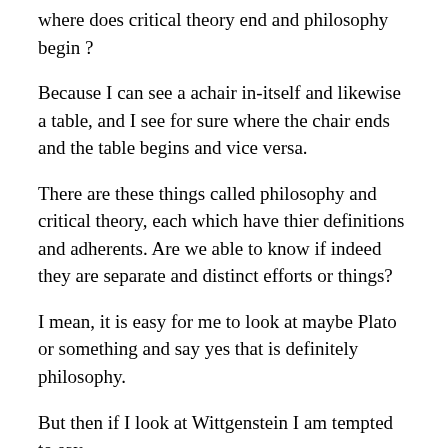where does critical theory end and philosophy begin ?
Because I can see a achair in-itself and likewise a table, and I see for sure where the chair ends and the table begins and vice versa.
There are these things called philosophy and critical theory, each which have thier definitions and adherents. Are we able to know if indeed they are separate and distinct efforts or things?
I mean, it is easy for me to look at maybe Plato or something and say yes that is definitely philosophy.
But then if I look at Wittgenstein I am tempted to say